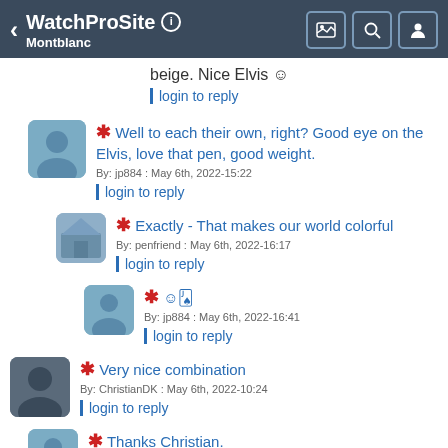WatchProSite — Montblanc
beige. Nice Elvis 🙂
login to reply
* Well to each their own, right? Good eye on the Elvis, love that pen, good weight.
By: jp884 : May 6th, 2022-15:22
login to reply
* Exactly - That makes our world colorful
By: penfriend : May 6th, 2022-16:17
login to reply
* 🙂🀫
By: jp884 : May 6th, 2022-16:41
login to reply
* Very nice combination
By: ChristianDK : May 6th, 2022-10:24
login to reply
* Thanks Christian.
By: jp884 : May 6th, 2022-15:22